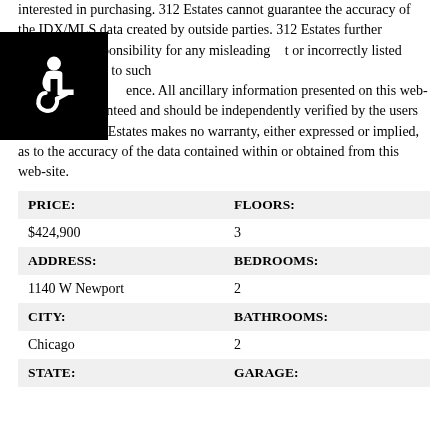interested in purchasing. 312 Estates cannot guarantee the accuracy of the IDX/MLS data created by outside parties. 312 Estates further assumes no responsibility for any misleading t or incorrectly listed information due to such ence. All ancillary information presented on this web-site is not guaranteed and should be independently verified by the users of this site. 312 Estates makes no warranty, either expressed or implied, as to the accuracy of the data contained within or obtained from this web-site.
| Field | Value |
| --- | --- |
| PRICE: | FLOORS: |
| $424,900 | 3 |
| ADDRESS: | BEDROOMS: |
| 1140 W Newport | 2 |
| CITY: | BATHROOMS: |
| Chicago | 2 |
| STATE: | GARAGE: |